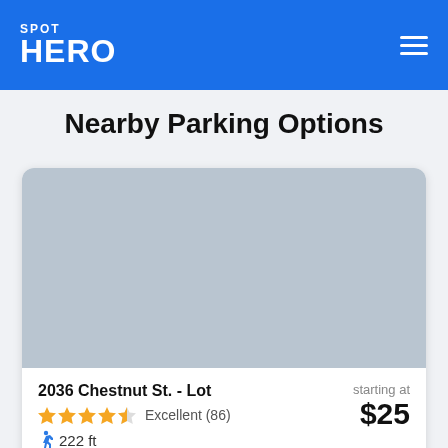SPOT HERO
Nearby Parking Options
[Figure (map): Map placeholder showing a gray area representing a map view of nearby parking]
2036 Chestnut St. - Lot
Excellent (86)
222 ft
starting at $25